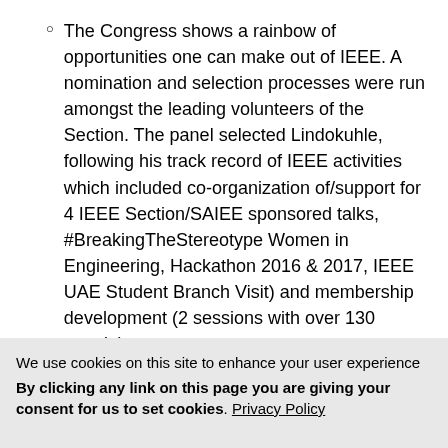The Congress shows a rainbow of opportunities one can make out of IEEE. A nomination and selection processes were run amongst the leading volunteers of the Section. The panel selected Lindokuhle, following his track record of IEEE activities which included co-organization of/support for 4 IEEE Section/SAIEE sponsored talks, #BreakingTheStereotype Women in Engineering, Hackathon 2016 & 2017, IEEE UAE Student Branch Visit) and membership development (2 sessions with over 130 people).
We use cookies on this site to enhance your user experience
By clicking any link on this page you are giving your consent for us to set cookies. Privacy Policy